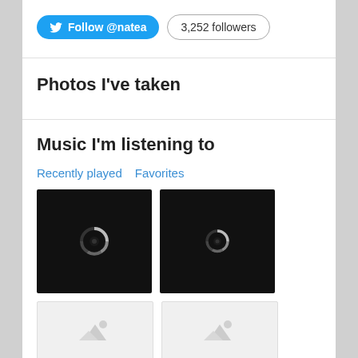Follow @natea | 3,252 followers
Photos I've taken
Music I'm listening to
Recently played  Favorites
[Figure (screenshot): Black album art thumbnail with circular loading spinner]
[Figure (screenshot): Black album art thumbnail with circular loading spinner]
[Figure (screenshot): Light gray album art placeholder with white mountain/image icon]
[Figure (screenshot): Light gray album art placeholder with white mountain/image icon]